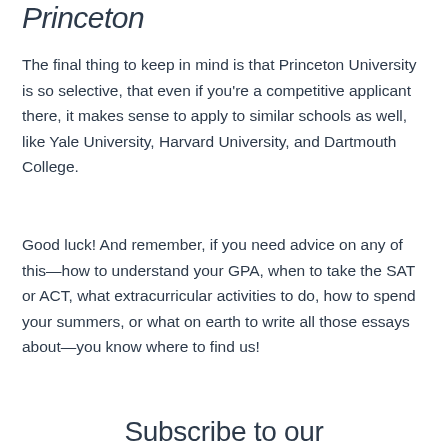Princeton
The final thing to keep in mind is that Princeton University is so selective, that even if you're a competitive applicant there, it makes sense to apply to similar schools as well, like Yale University, Harvard University, and Dartmouth College.
Good luck! And remember, if you need advice on any of this—how to understand your GPA, when to take the SAT or ACT, what extracurricular activities to do, how to spend your summers, or what on earth to write all those essays about—you know where to find us!
Subscribe to our